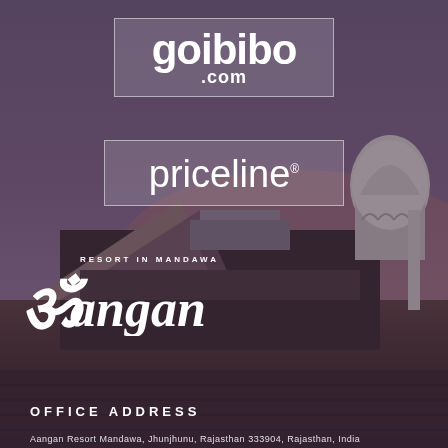[Figure (photo): Background photo of Aangan Resort in Mandawa at dusk, showing traditional Rajasthani architecture with a white domed structure, tents, and rooftop views under a purple-grey sky.]
goibibo .com
priceline®
[Figure (logo): Aangan Resort in Mandawa logo with decorative Hindi script lettering and 'RESORT IN MANDAWA' subtitle text]
OFFICE ADDRESS
Aangan Resort Mandawa, Jhunjhunu, Rajasthan 333904, Rajasthan, India